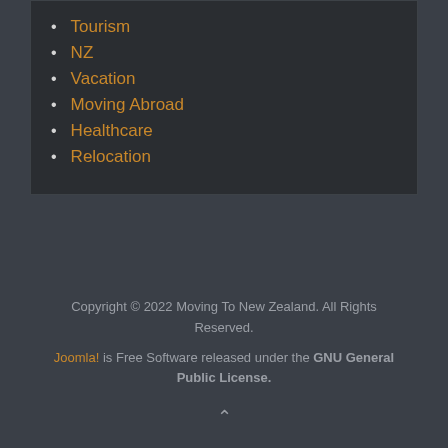Tourism
NZ
Vacation
Moving Abroad
Healthcare
Relocation
Copyright © 2022 Moving To New Zealand. All Rights Reserved. Joomla! is Free Software released under the GNU General Public License.